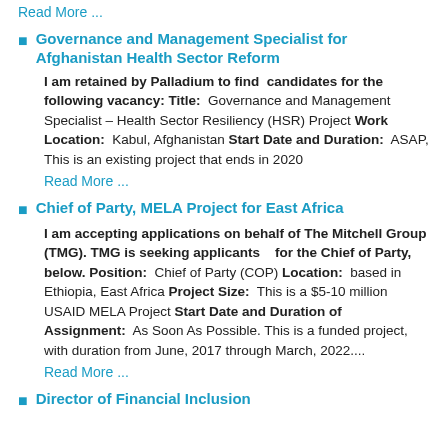Read More ...
Governance and Management Specialist for Afghanistan Health Sector Reform
I am retained by Palladium to find candidates for the following vacancy: Title: Governance and Management Specialist – Health Sector Resiliency (HSR) Project Work Location: Kabul, Afghanistan Start Date and Duration: ASAP, This is an existing project that ends in 2020
Read More ...
Chief of Party, MELA Project for East Africa
I am accepting applications on behalf of The Mitchell Group (TMG). TMG is seeking applicants for the Chief of Party, below. Position: Chief of Party (COP) Location: based in Ethiopia, East Africa Project Size: This is a $5-10 million USAID MELA Project Start Date and Duration of Assignment: As Soon As Possible. This is a funded project, with duration from June, 2017 through March, 2022....
Read More ...
Director of Financial Inclusion